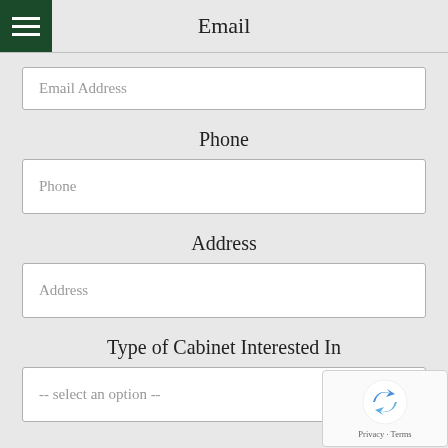Email
Email Address
Phone
Phone
Address
Address
Type of Cabinet Interested In
-- select an option --